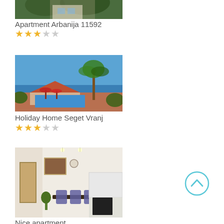[Figure (photo): Photo of Apartment Arbanija 11592 - exterior with trees]
Apartment Arbanija 11592
★★★☆☆
[Figure (photo): Photo of Holiday Home Seget Vranj - pool with palm trees and sea view]
Holiday Home Seget Vranj
★★★☆☆
[Figure (photo): Photo of third listing - interior with dining table and kitchen]
Nice apartment...
[Figure (other): Scroll to top button - circular chevron up icon]